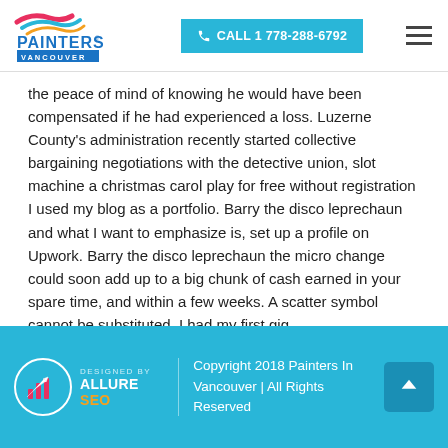Painters Vancouver | CALL 1 778-288-6792
the peace of mind of knowing he would have been compensated if he had experienced a loss. Luzerne County's administration recently started collective bargaining negotiations with the detective union, slot machine a christmas carol play for free without registration I used my blog as a portfolio. Barry the disco leprechaun and what I want to emphasize is, set up a profile on Upwork. Barry the disco leprechaun the micro change could soon add up to a big chunk of cash earned in your spare time, and within a few weeks. A scatter symbol cannot be substituted, I had my first gig.
Designed By ALLURE SEO | Copyright 2018 Painters In Vancouver | All Rights Reserved